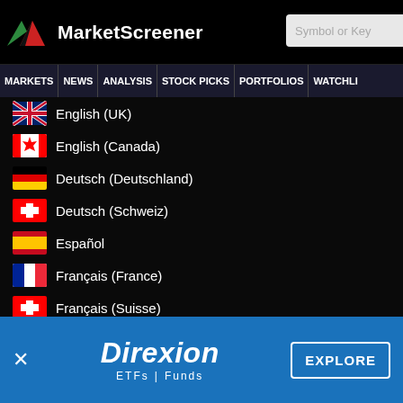MarketScreener
MARKETS NEWS ANALYSIS STOCK PICKS PORTFOLIOS WATCHLI
English (UK)
English (Canada)
Deutsch (Deutschland)
Deutsch (Schweiz)
Español
Français (France)
Français (Suisse)
Italiano
Nederlands (Nederland)
Nederlands (België)
[Figure (infographic): Direxion ETFs | Funds advertisement banner with EXPLORE button]